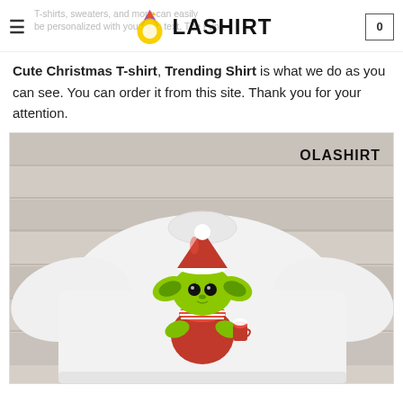OLASHIRT — T-shirts, sweaters and more can easily be personalized... The Funk...
Cute Christmas T-shirt, Trending Shirt is what we do as you can see. You can order it from this site. Thank you for your attention.
[Figure (photo): White crewneck sweatshirt on a wooden background featuring a Baby Yoda character wearing a Santa hat and red Christmas outfit holding a mug, with OLASHIRT watermark in top right corner.]